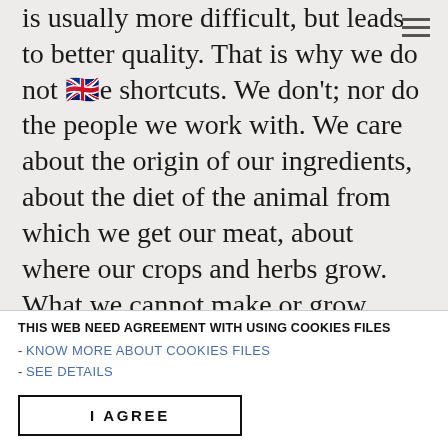is usually more difficult, but leads to better quality. That is why we do not 🇬🇧e shortcuts. We don't; nor do the people we work with. We care about the origin of our ingredients, about the diet of the animal from which we get our meat, about where our crops and herbs grow. What we cannot make or grow ourselves, we buy from those who are the most qualified. We care about the work of each and every person that participates in the making of the final product – whether it be a farmer, cultivator, or herbalist. Mutual respect and high reverence for the hard work of all of us – that is what
THIS WEB NEED AGREEMENT WITH USING COOKIES FILES
- KNOW MORE ABOUT COOKIES FILES
- SEE DETAILS
I AGREE